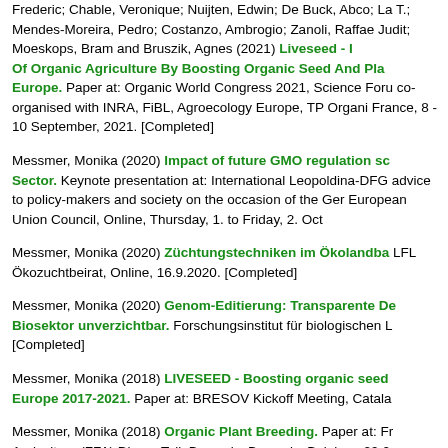Frederic; Chable, Veronique; Nuijten, Edwin; De Buck, Abco; La T.; Mendes-Moreira, Pedro; Costanzo, Ambrogio; Zanoli, Raffae Judit; Moeskops, Bram and Bruszik, Agnes (2021) Liveseed - I Of Organic Agriculture By Boosting Organic Seed And Pla Europe. Paper at: Organic World Congress 2021, Science Foru co-organised with INRA, FiBL, Agroecology Europe, TP Organi France, 8 - 10 September, 2021. [Completed]
Messmer, Monika (2020) Impact of future GMO regulation sc Sector. Keynote presentation at: International Leopoldina-DFG advice to policy-makers and society on the occasion of the Ger European Union Council, Online, Thursday, 1. to Friday, 2. Oct
Messmer, Monika (2020) Züchtungstechniken im Ökolandba LFL Ökozuchtbeirat, Online, 16.9.2020. [Completed]
Messmer, Monika (2020) Genom-Editierung: Transparente De Biosektor unverzichtbar. Forschungsinstitut für biologischen L [Completed]
Messmer, Monika (2018) LIVESEED - Boosting organic seed Europe 2017-2021. Paper at: BRESOV Kickoff Meeting, Catala
Messmer, Monika (2018) Organic Plant Breeding. Paper at: Fr Agriculture (FFA) Dinner Talk Brussels, Brussels, Belgium, 29.0
Messmer, Monika (2018) Biggest challenges and research ga breeding in the Global South. Paper at: Science Day: Techno IFOAM - Organics International (TIPI), Biofach, Nuremberg, Ge [Completed]